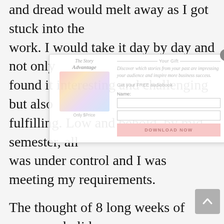and dread would melt away as I got stuck into the work. I would take it day by day and not only found it interesting and challenging but also fulfilling. Low and behold, by mid-semester, all was under control and I was meeting my requirements.

The thought of 8 long weeks of summers holidays for the kids and the job of the entrepreneur which, by its very nature, needs constant